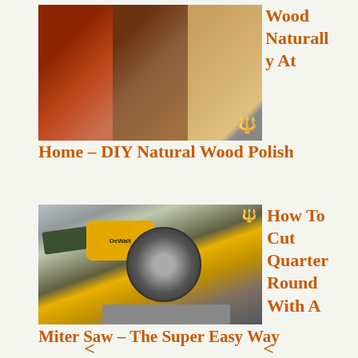[Figure (photo): Three-panel photo collage showing wood finishing: polished red-brown wood surface, dark wood furniture detail, and light wood with saw/chainsaw tool overlay]
Wood Naturally At Home – DIY Natural Wood Polish
[Figure (photo): Photo of a person using a yellow DeWalt miter saw to cut wood, with chainsaw icon overlay]
How To Cut Quarter Round With A Miter Saw – The Super Easy Way